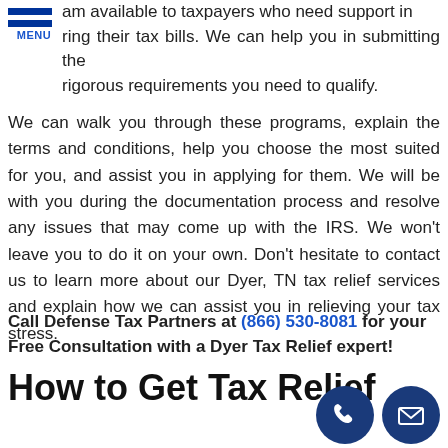MENU
am available to taxpayers who need support in ring their tax bills. We can help you in submitting the rigorous requirements you need to qualify.
We can walk you through these programs, explain the terms and conditions, help you choose the most suited for you, and assist you in applying for them. We will be with you during the documentation process and resolve any issues that may come up with the IRS. We won't leave you to do it on your own. Don't hesitate to contact us to learn more about our Dyer, TN tax relief services and explain how we can assist you in relieving your tax stress.
Call Defense Tax Partners at (866) 530-8081 for your Free Consultation with a Dyer Tax Relief expert!
How to Get Tax Relief
[Figure (illustration): Phone icon circle button (dark blue) and envelope/mail icon circle button (dark blue) in bottom right corner]